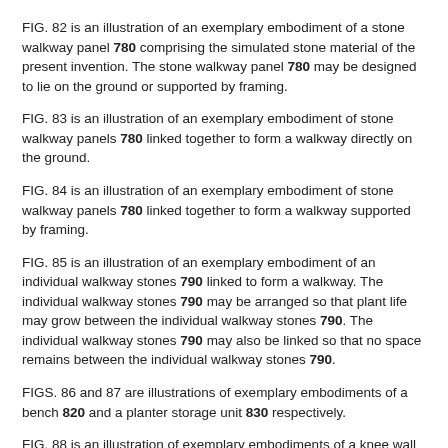FIG. 82 is an illustration of an exemplary embodiment of a stone walkway panel 780 comprising the simulated stone material of the present invention. The stone walkway panel 780 may be designed to lie on the ground or supported by framing.
FIG. 83 is an illustration of an exemplary embodiment of stone walkway panels 780 linked together to form a walkway directly on the ground.
FIG. 84 is an illustration of an exemplary embodiment of stone walkway panels 780 linked together to form a walkway supported by framing.
FIG. 85 is an illustration of an exemplary embodiment of an individual walkway stones 790 linked to form a walkway. The individual walkway stones 790 may be arranged so that plant life may grow between the individual walkway stones 790. The individual walkway stones 790 may also be linked so that no space remains between the individual walkway stones 790.
FIGS. 86 and 87 are illustrations of exemplary embodiments of a bench 820 and a planter storage unit 830 respectively.
FIG. 88 is an illustration of exemplary embodiments of a knee wall 840 and patio stones 850 comprising the simulated stone material of the present invention. The patio stones 850 may be joined together to form a patio surface. The patio stones 850 may be manufactured as panels.